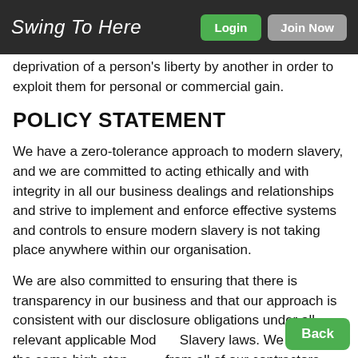Swing To Here | Login | Join Now
deprivation of a person's liberty by another in order to exploit them for personal or commercial gain.
POLICY STATEMENT
We have a zero-tolerance approach to modern slavery, and we are committed to acting ethically and with integrity in all our business dealings and relationships and strive to implement and enforce effective systems and controls to ensure modern slavery is not taking place anywhere within our organisation.
We are also committed to ensuring that there is transparency in our business and that our approach is consistent with our disclosure obligations under all relevant applicable Modern Slavery laws. We expect the same high standards from all of our contractors, suppliers and other